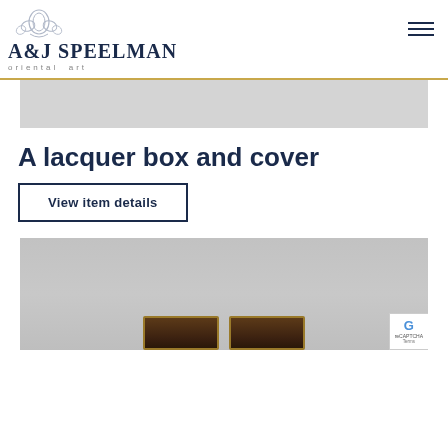A&J SPEELMAN oriental art
A lacquer box and cover
View item details
[Figure (photo): Bottom portion showing a lacquer box and cover object against grey background]